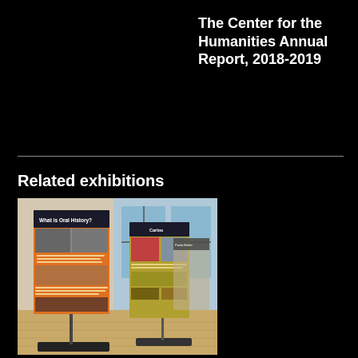The Center for the Humanities Annual Report, 2018-2019
Related exhibitions
[Figure (photo): Exhibition banners displayed in a room with large windows. The foreground banner is orange and reads 'What is Oral History?' with photos of people. Behind it stands a second banner with yellow/green panels and images. Both banners are mounted on black stands on a wooden floor.]